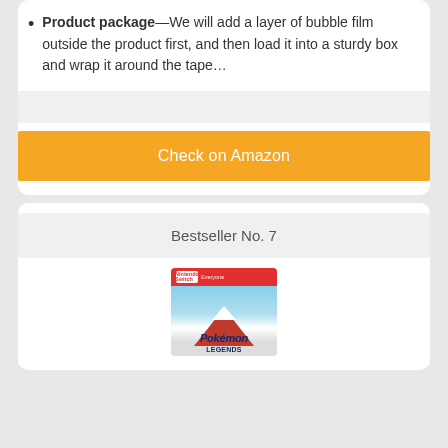Product package—We will add a layer of bubble film outside the product first, and then load it into a sturdy box and wrap it around the tape…
Check on Amazon
Bestseller No. 7
[Figure (photo): Pokémon Legends Nintendo Switch game box art showing a mountain with snow cap on a light blue background, with the Nintendo Switch logo at top]